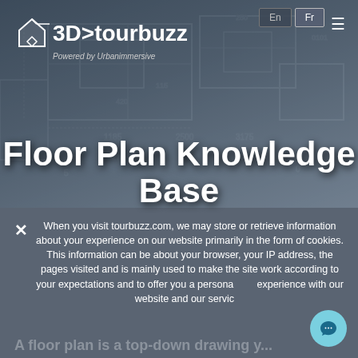[Figure (screenshot): 3D TourBuzz website header with blueprint/floor plan background image, showing logo and navigation]
Floor Plan Knowledge Base
When you visit tourbuzz.com, we may store or retrieve information about your experience on our website primarily in the form of cookies. This information can be about your browser, your IP address, the pages visited and is mainly used to make the site work according to your expectations and to offer you a personalized experience with our website and our service
A floor plan is a top-down drawing of...